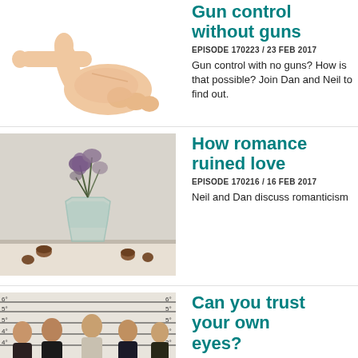[Figure (photo): Hand making a finger-gun gesture (thumb up, index finger extended like a pistol) on white background]
Gun control without guns
EPISODE 170223 / 23 FEB 2017
Gun control with no guns? How is that possible? Join Dan and Neil to find out.
[Figure (photo): A glass vase with wilting flowers and scattered nuts/acorns on a white table]
How romance ruined love
EPISODE 170216 / 16 FEB 2017
Neil and Dan discuss romanticism
[Figure (photo): Five people in a police lineup style photo holding number cards 1, 2, 4, 5 against a height measurement wall]
Can you trust your own eyes?